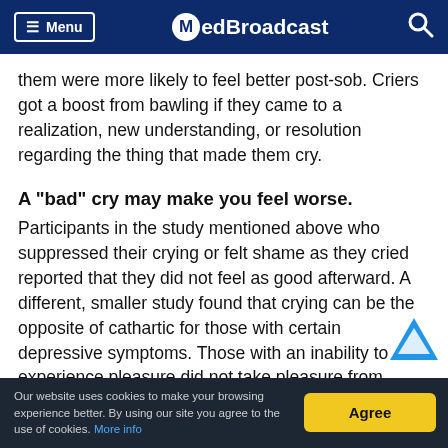Menu MedBroadcast
them were more likely to feel better post-sob. Criers got a boost from bawling if they came to a realization, new understanding, or resolution regarding the thing that made them cry.
A "bad" cry may make you feel worse.
Participants in the study mentioned above who suppressed their crying or felt shame as they cried reported that they did not feel as good afterward. A different, smaller study found that crying can be the opposite of cathartic for those with certain depressive symptoms. Those with an inability to experience pleasure did not take pleasure from crying - in fact, they felt worse after they cried than they felt before
Our website uses cookies to make your browsing experience better. By using our site you agree to the use of cookies. More info  [Agree]